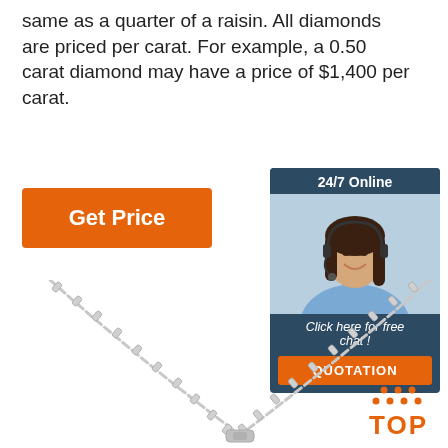same as a quarter of a raisin. All diamonds are priced per carat. For example, a 0.50 carat diamond may have a price of $1,400 per carat.
[Figure (other): Orange 'Get Price' button]
[Figure (other): 24/7 online chat widget with woman wearing headset, 'Click here for free chat!' text, and orange QUOTATION button]
[Figure (photo): Silver chain necklace with pendant on white background]
[Figure (other): Orange 'TOP' back-to-top button with dots above forming an upward arrow]